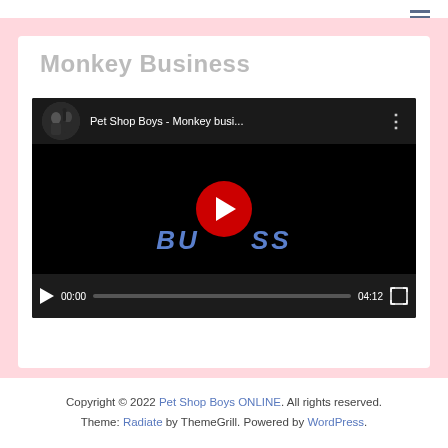☰
Monkey Business
[Figure (screenshot): YouTube video embed showing 'Pet Shop Boys - Monkey busi...' with a large red play button in the center, video controls showing 00:00 / 04:12 at the bottom, and decorative text 'BUSINESS' in blue italic in the background.]
Copyright © 2022 Pet Shop Boys ONLINE. All rights reserved. Theme: Radiate by ThemeGrill. Powered by WordPress.